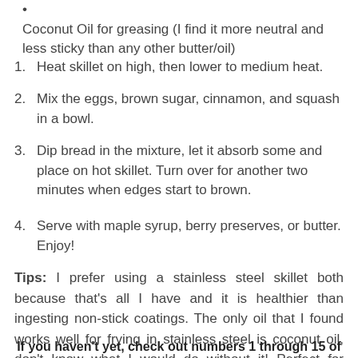Coconut Oil for greasing (I find it more neutral and less sticky than any other butter/oil)
1. Heat skillet on high, then lower to medium heat.
2. Mix the eggs, brown sugar, cinnamon, and squash in a bowl.
3. Dip bread in the mixture, let it absorb some and place on hot skillet. Turn over for another two minutes when edges start to brown.
4. Serve with maple syrup, berry preserves, or butter. Enjoy!
Tips: I prefer using a stainless steel skillet both because that's all I have and it is healthier than ingesting non-stick coatings. The only oil that I found works well for frying in stainless steel is coconut oil, don't know what I would do without it! Perfect for French toast, pancakes, crepes... This is always good with some hot herbal or black tea!
If you haven't yet, check out numbers 1 through 15 of our Glimpse into Eco-Babyz: